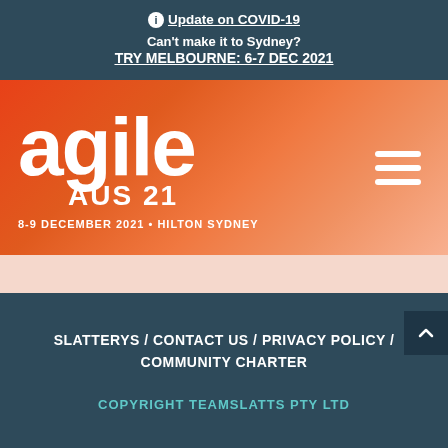ℹ Update on COVID-19
Can't make it to Sydney?
TRY MELBOURNE: 6-7 DEC 2021
[Figure (logo): Agile AUS 21 logo with text '8-9 DECEMBER 2021 • HILTON SYDNEY' on a red-to-orange gradient banner with hamburger menu icon]
SLATTERYS / CONTACT US / PRIVACY POLICY / COMMUNITY CHARTER
COPYRIGHT TEAMSLATTS PTY LTD